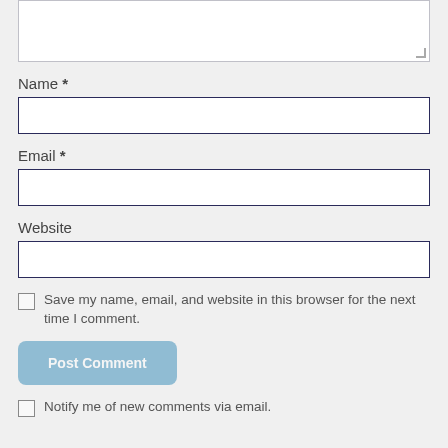[textarea]
Name *
[text input]
Email *
[text input]
Website
[text input]
Save my name, email, and website in this browser for the next time I comment.
Post Comment
Notify me of new comments via email.